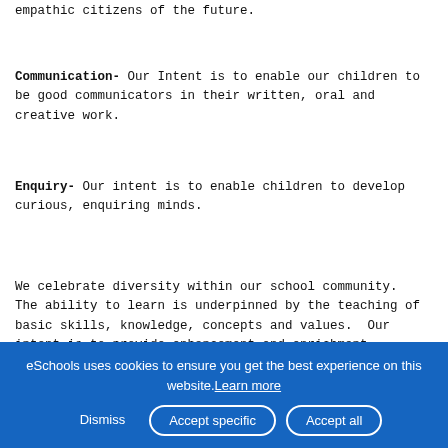empathic citizens of the future.
Communication- Our Intent is to enable our children to be good communicators in their written, oral and creative work.
Enquiry- Our intent is to enable children to develop curious, enquiring minds.
We celebrate diversity within our school community. The ability to learn is underpinned by the teaching of basic skills, knowledge, concepts and values. Our intent is to provide enhancement and enrichment opportunities to engage, learning and
eSchools uses cookies to ensure you get the best experience on this website. Learn more
Dismiss  Accept specific  Accept all